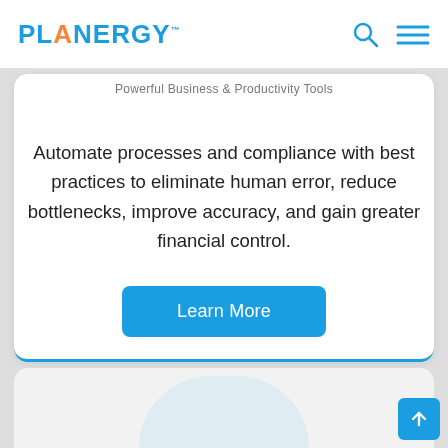PLANERGY™
Powerful Business & Productivity Tools
Automate processes and compliance with best practices to eliminate human error, reduce bottlenecks, improve accuracy, and gain greater financial control.
Learn More